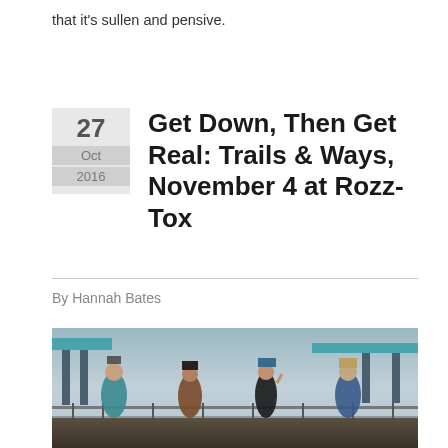that it's sullen and pensive.
Get Down, Then Get Real: Trails & Ways, November 4 at Rozz-Tox
By Hannah Bates
[Figure (photo): Four band members standing outdoors in front of an elevated freeway overpass structure under a cloudy sky. From left to right: a woman in teal jacket and denim skirt, a woman in brown top, a man in black outfit touching his hat, and a man in blue patterned shirt.]